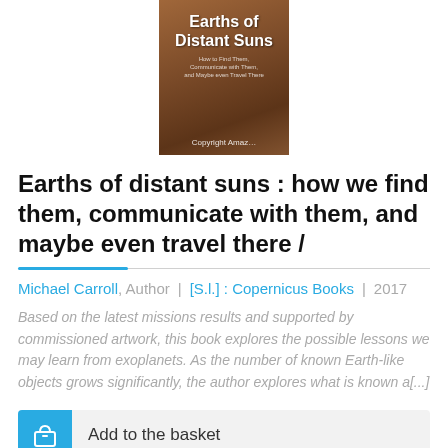[Figure (illustration): Book cover for 'Earths of Distant Suns' showing a brownish-orange textured surface design with white title text and a copyright watermark for Amazon]
Earths of distant suns : how we find them, communicate with them, and maybe even travel there /
Michael Carroll, Author | [S.l.] : Copernicus Books | 2017
Based on the latest missions results and supported by commissioned artwork, this book explores the possible lessons we may learn from exoplanets. As the number of known Earth-like objects grows significantly, the author explores what is known a[...]
Add to the basket